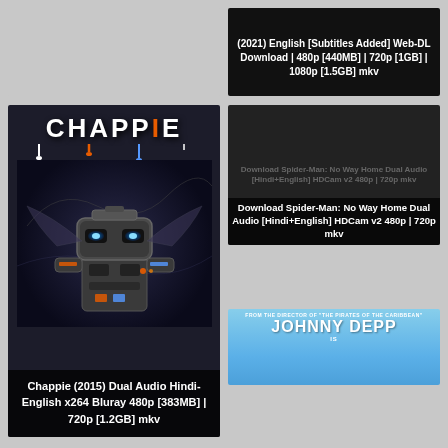[Figure (screenshot): Dark card partially visible at top - movie download with text about Web-DL Download 480p [440MB] | 720p [1GB] | 1080p [1.5GB] mkv]
[Figure (screenshot): Download Spider-Man: No Way Home Dual Audio [Hindi+English] HDCam v2 480p | 720p mkv - movie poster card]
[Figure (screenshot): Chappie (2015) Dual Audio Hindi-English x264 Bluray 480p [383MB] | 720p [1.2GB] mkv - movie poster with robot]
[Figure (screenshot): Johnny Depp movie card - FROM THE DIRECTOR OF THE PIRATES OF THE CARIBBEAN - JOHNNY DEPP IS - blue sky background]
[Figure (screenshot): Spider movie card - green and yellow background]